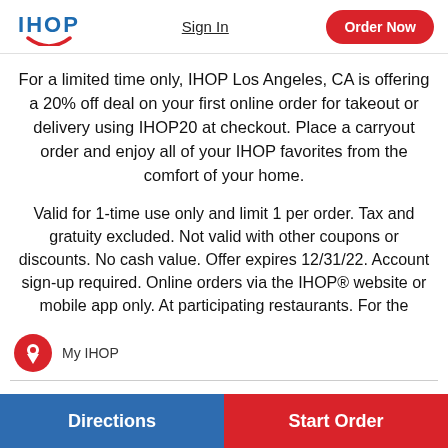[Figure (logo): IHOP logo with blue text and red smile arc]
Sign In
Order Now
For a limited time only, IHOP Los Angeles, CA is offering a 20% off deal on your first online order for takeout or delivery using IHOP20 at checkout. Place a carryout order and enjoy all of your IHOP favorites from the comfort of your home.
Valid for 1-time use only and limit 1 per order. Tax and gratuity excluded. Not valid with other coupons or discounts. No cash value. Offer expires 12/31/22. Account sign-up required. Online orders via the IHOP® website or mobile app only. At participating restaurants. For the
My IHOP
Directions
Start Order